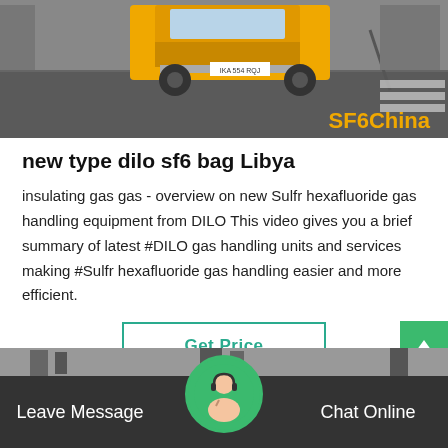[Figure (photo): Yellow truck/vehicle on a road, with SF6China watermark in orange at bottom right]
new type dilo sf6 bag Libya
insulating gas gas - overview on new Sulfr hexafluoride gas handling equipment from DILO This video gives you a brief summary of latest #DILO gas handling units and services making #Sulfr hexafluoride gas handling easier and more efficient.
Get Price
Leave Message   Chat Online